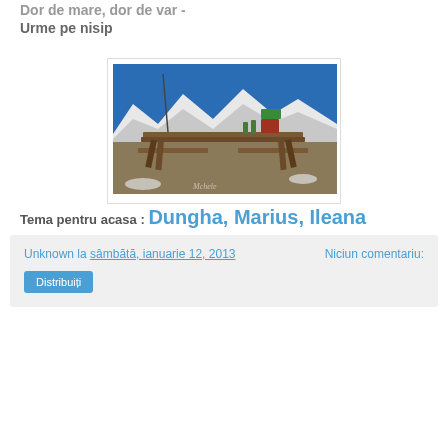Dor de mare, dor de var -
Urme pe nisip
[Figure (photo): Outdoor photo showing a wooden picnic table/bench in a mountain landscape. Snow-capped mountains in background under a clear blue sky. Some bottles and items on the table. Dry grass and snow patches on ground.]
Tema pentru acasa : Dungha, Marius, Ileana
Unknown la sâmbătă, ianuarie 12, 2013   Niciun comentariu:
Distribuiți